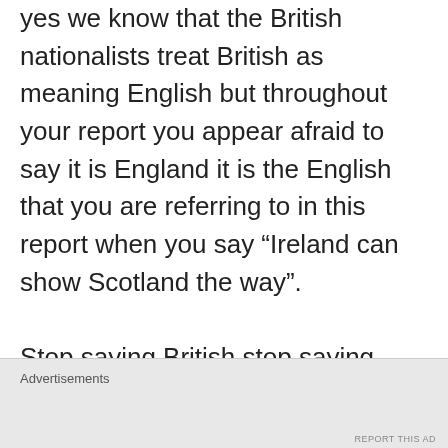yes we know that the British nationalists treat British as meaning English but throughout your report you appear afraid to say it is England it is the English that you are referring to in this report when you say “Ireland can show Scotland the way”. Stop saying British stop saying Britain,it’s England that stops the reunification of Ireland and England that fights against Scottish independence.
Advertisements